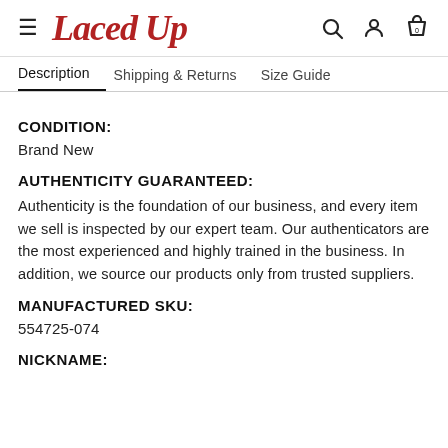≡ Laced Up [search] [user] [cart 0]
Description | Shipping & Returns | Size Guide
CONDITION:
Brand New
AUTHENTICITY GUARANTEED:
Authenticity is the foundation of our business, and every item we sell is inspected by our expert team. Our authenticators are the most experienced and highly trained in the business. In addition, we source our products only from trusted suppliers.
MANUFACTURED SKU:
554725-074
NICKNAME: